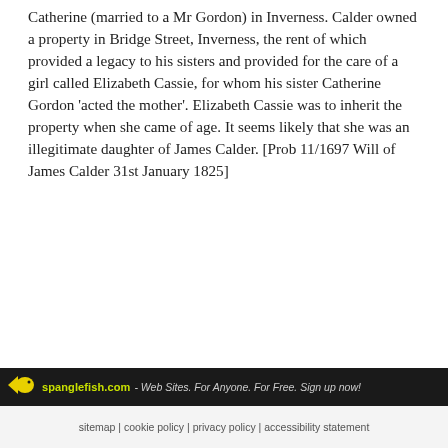Catherine (married to a Mr Gordon) in Inverness. Calder owned a property in Bridge Street, Inverness, the rent of which provided a legacy to his sisters and provided for the care of a girl called Elizabeth Cassie, for whom his sister Catherine Gordon 'acted the mother'. Elizabeth Cassie was to inherit the property when she came of age. It seems likely that she was an illegitimate daughter of James Calder. [Prob 11/1697 Will of James Calder 31st January 1825]
spanglefish.com - Web Sites. For Anyone. For Free. Sign up now! | sitemap | cookie policy | privacy policy | accessibility statement